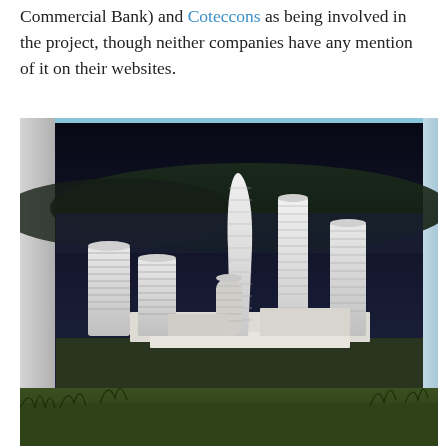Commercial Bank) and Coteccons as being involved in the project, though neither companies have any mention of it on their websites.
[Figure (photo): A large outdoor billboard or hoarding displaying an architectural rendering of a futuristic urban development with multiple skyscrapers and towers, set against a dark background. The photo is taken from ground level with grass in the foreground, and white/grey panels flank either side of the billboard.]